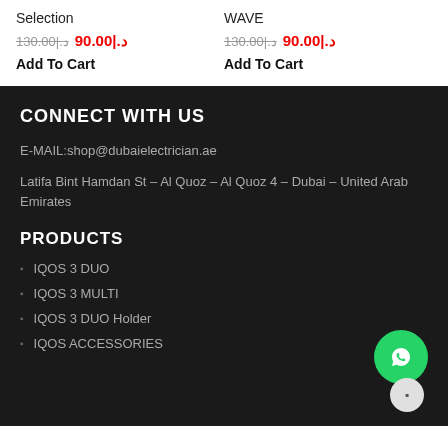Selection
130.00|.د  90.00|.د  Add To Cart
WAVE
130.00|.د  90.00|.د  Add To Cart
CONNECT WITH US
E-MAIL:shop@dubaielectrician.ae
Latifa Bint Hamdan St – Al Quoz – Al Quoz 4 – Dubai – United Arab Emirates
PRODUCTS
IQOS 3 DUO
IQOS 3 MULTI
IQOS 3 DUO Holder
IQOS ACCESSORIES